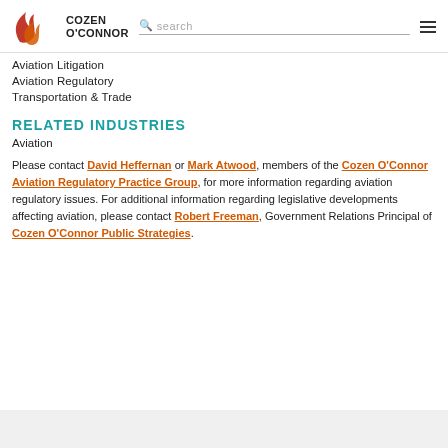Cozen O'Connor — search — navigation
Aviation Litigation
Aviation Regulatory
Transportation & Trade
RELATED INDUSTRIES
Aviation
Please contact David Heffernan or Mark Atwood, members of the Cozen O'Connor Aviation Regulatory Practice Group, for more information regarding aviation regulatory issues. For additional information regarding legislative developments affecting aviation, please contact Robert Freeman, Government Relations Principal of Cozen O'Connor Public Strategies.